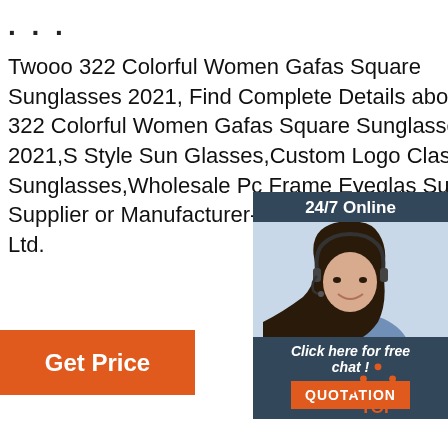...
Twooo 322 Colorful Women Gafas Square Sunglasses 2021, Find Complete Details about Twooo 322 Colorful Women Gafas Square Sunglasses 2021,S Style Sun Glasses,Custom Logo Classic Sunglasses,Wholesale Pc Frame Eyeglas Sunglasses Supplier or Manufacturer-Taiz Circles Trading Co., Ltd.
[Figure (infographic): Customer service chat widget with '24/7 Online' header, photo of woman with headset, 'Click here for free chat!' text, and orange QUOTATION button]
[Figure (logo): Orange dotted triangle with 'TOP' text below in orange]
Get Price